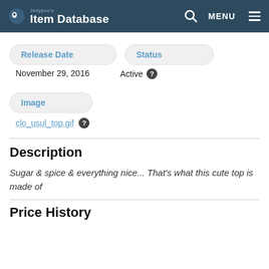Jellypoo's Item Database
Release Date
Status
November 29, 2016
Active
Image
clo_usul_top.gif
Description
Sugar & spice & everything nice... That's what this cute top is made of
Price History